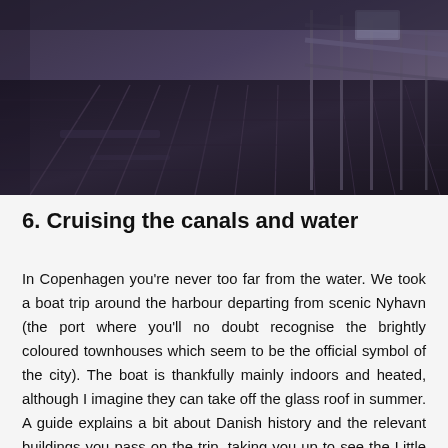[Figure (photo): Dark atmospheric photo of a wooden dock or railway platform with planks and metal fence/railing, in muted purple-grey tones]
6. Cruising the canals and water
In Copenhagen you're never too far from the water. We took a boat trip around the harbour departing from scenic Nyhavn (the port where you'll no doubt recognise the brightly coloured townhouses which seem to be the official symbol of the city). The boat is thankfully mainly indoors and heated, although I imagine they can take off the glass roof in summer. A guide explains a bit about Danish history and the relevant buildings you pass on the trip, taking you up to see the Little Mermaid statue perched on a rock. You cruise along some of the city's canals too, admiring the moored yachts and imposing neoclassical architecture and gothic churches that compose